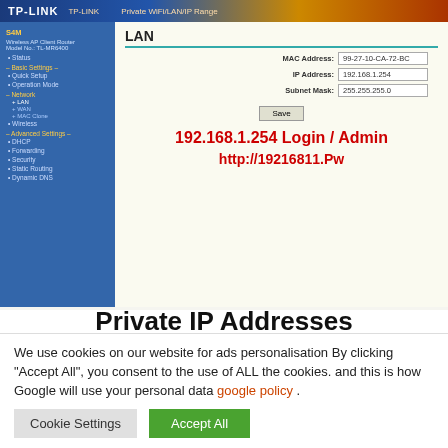[Figure (screenshot): Screenshot of TP-LINK router admin interface showing LAN settings with MAC Address 99-27-10-CA-72-BC, IP Address 192.168.1.254, Subnet Mask 255.255.255.0, with overlaid text '192.168.1.254 Login / Admin' and 'http://19216811.Pw' in red]
Private IP Addresses
We use cookies on our website for ads personalisation By clicking “Accept All”, you consent to the use of ALL the cookies. and this is how Google will use your personal data google policy .